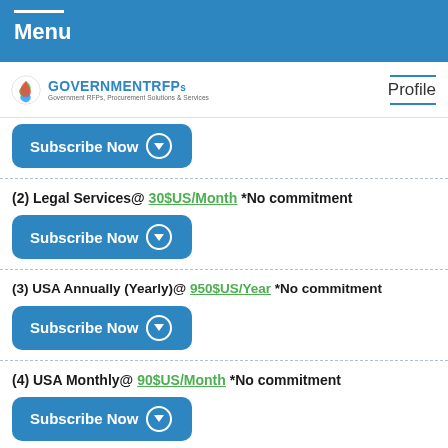Menu
[Figure (logo): GOVERNMENTRFPs logo with tagline: Government RFPs, Procurement Solutions & Services]
Profile
(1) Subscribe Now
(2) Legal Services@ 30$US/Month *No commitment
(3) USA Annually (Yearly)@ 950$US/Year *No commitment
(4) USA Monthly@ 90$US/Month *No commitment
(5) Alabama Annually@ 150$US/Year *No commitment